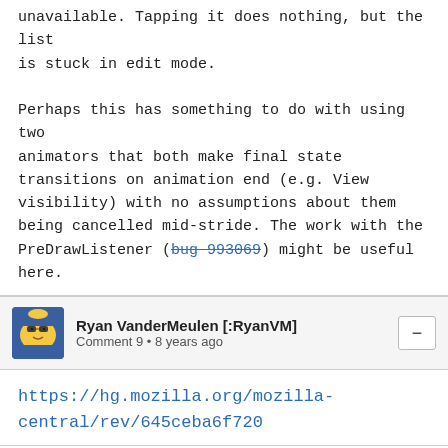unavailable. Tapping it does nothing, but the list is stuck in edit mode.

Perhaps this has something to do with using two animators that both make final state transitions on animation end (e.g. View visibility) with no assumptions about them being cancelled mid-stride. The work with the PreDrawListener (bug 993069) might be useful here.
Ryan VanderMeulen [:RyanVM]
Comment 9 • 8 years ago
https://hg.mozilla.org/mozilla-central/rev/645ceba6f720
Status: ASSIGNED → RESOLVED
Closed: 8 years ago
Resolution: --- → FIXED
Target Milestone: --- → Firefox 32